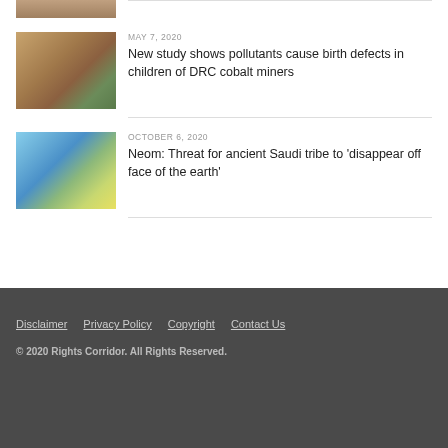[Figure (photo): Partial top of a thumbnail image, cropped at top of page]
MAY 7, 2020
New study shows pollutants cause birth defects in children of DRC cobalt miners
[Figure (photo): Photo of a child mining cobalt in DRC, digging in dry rocky soil]
OCTOBER 6, 2020
Neom: Threat for ancient Saudi tribe to 'disappear off face of the earth'
[Figure (photo): Futuristic city rendering with tall structures and green landscape for Neom project]
Disclaimer   Privacy Policy   Copyright   Contact Us
© 2020 Rights Corridor. All Rights Reserved.